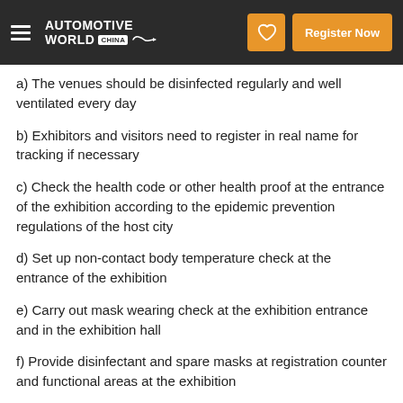AUTOMOTIVE WORLD CHINA — Register Now
a) The venues should be disinfected regularly and well ventilated every day
b) Exhibitors and visitors need to register in real name for tracking if necessary
c) Check the health code or other health proof at the entrance of the exhibition according to the epidemic prevention regulations of the host city
d) Set up non-contact body temperature check at the entrance of the exhibition
e) Carry out mask wearing check at the exhibition entrance and in the exhibition hall
f) Provide disinfectant and spare masks at registration counter and functional areas at the exhibition